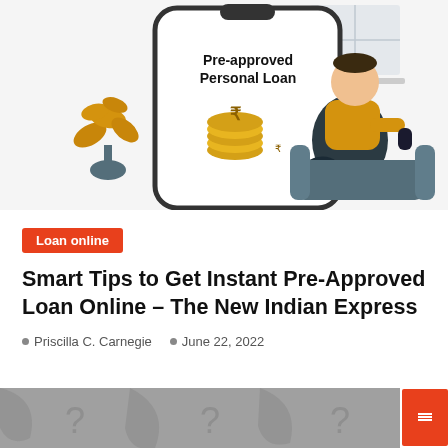[Figure (illustration): Illustration of a man sitting on a couch using a smartphone, next to a large phone screen showing 'Pre-approved Personal Loan' with gold coins and rupee symbols. A plant is visible on the left side. Background is light gray/white.]
Loan online
Smart Tips to Get Instant Pre-Approved Loan Online – The New Indian Express
Priscilla C. Carnegie   June 22, 2022
[Figure (photo): Partial view of a gray-toned image with question marks and circular shapes, partially visible at the bottom of the page.]